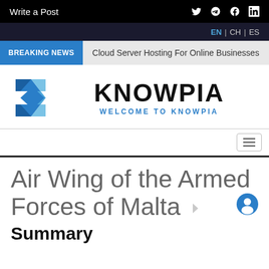Write a Post
EN | CH | ES
BREAKING NEWS   Cloud Server Hosting For Online Businesses
KNOWPIA
WELCOME TO KNOWPIA
Air Wing of the Armed Forces of Malta
Summary